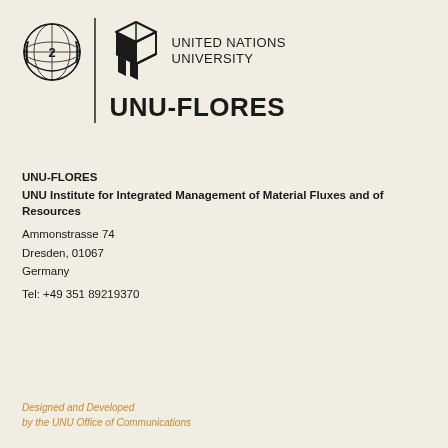[Figure (logo): United Nations emblem logo on the left, a vertical divider line, then the UNU geometric logo (triangular/cube icon) followed by 'UNITED NATIONS UNIVERSITY' text, and below that 'UNU-FLORES' in large bold text]
UNU-FLORES
UNU Institute for Integrated Management of Material Fluxes and of Resources
Ammonstrasse 74
Dresden, 01067
Germany
Tel: +49 351 89219370
Designed and Developed
by the UNU Office of Communications